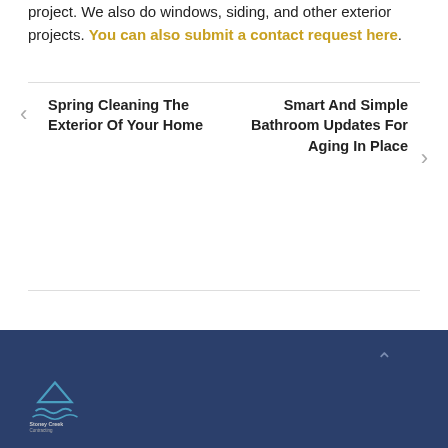project. We also do windows, siding, and other exterior projects. You can also submit a contact request here.
← Spring Cleaning The Exterior Of Your Home
Smart And Simple Bathroom Updates For Aging In Place →
[Figure (logo): Stoney Creek Contracting logo in blue and teal on dark navy footer background]